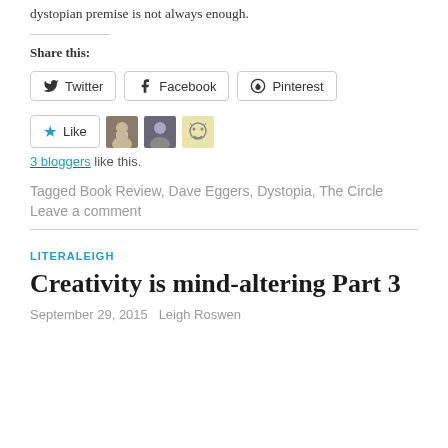dystopian premise is not always enough.
Share this:
[Figure (other): Social share buttons for Twitter, Facebook, and Pinterest]
[Figure (other): Like button with star icon and three blogger avatars]
3 bloggers like this.
Tagged Book Review, Dave Eggers, Dystopia, The Circle
Leave a comment
LITERALEIGH
Creativity is mind-altering Part 3
September 29, 2015   Leigh Roswen